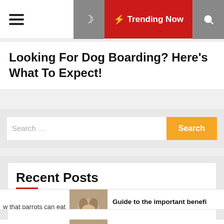≡  [moon icon]  ⚡ Trending Now  [search icon]
Looking For Dog Boarding? Here's What To Expect!
Search ...  Search
Recent Posts
How to install GPS Wireless Fence Work?
Do you know that parrots can eat bananas?
w that parrots can eat  [dog image]  Guide to the important benefi CBD for your dog